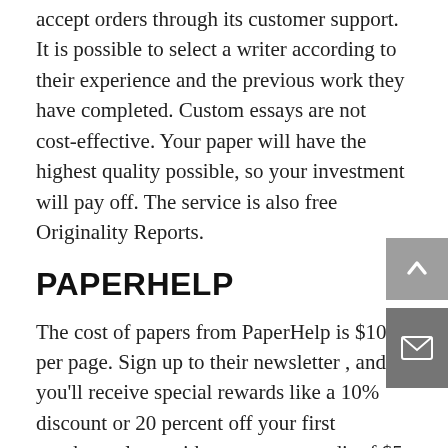accept orders through its customer support. It is possible to select a writer according to their experience and the previous work they have completed. Custom essays are not cost-effective. Your paper will have the highest quality possible, so your investment will pay off. The service is also free Originality Reports.
PAPERHELP
The cost of papers from PaperHelp is $10 per page. Sign up to their newsletter , and you'll receive special rewards like a 10% discount or 20 percent off your first purchase along with an account credit of $5 or a $10 credit. Additionally, they have a loyalty program, which offers rewards to you as an ongoing client. You should buy multiple https://www.creame.com.co/profile/mtopen310/profi paper to avail the maximum discounts. PaperHelp is